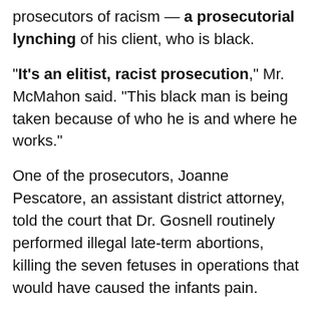prosecutors of racism — a prosecutorial lynching of his client, who is black.
“It’s an elitist, racist prosecution,” Mr. McMahon said. “This black man is being taken because of who he is and where he works.”
One of the prosecutors, Joanne Pescatore, an assistant district attorney, told the court that Dr. Gosnell routinely performed illegal late-term abortions, killing the seven fetuses in operations that would have caused the infants pain.
“If the baby is alive and you don’t want it to be, that doesn’t mean you have the right to take a pair of scissors and plunge it into the baby’s neck,” Ms. Pescatore told the jury during opening arguments of a trial that is expected to continue for four to six weeks.